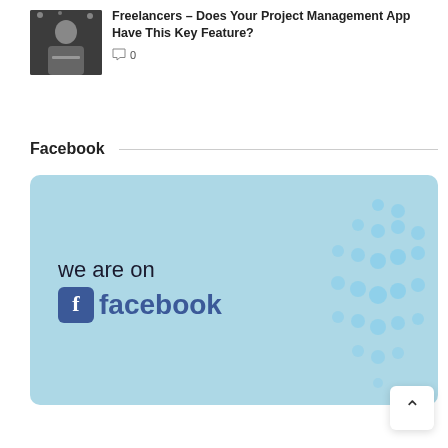[Figure (photo): Thumbnail photo of a man sitting with a laptop in a cafe setting]
Freelancers – Does Your Project Management App Have This Key Feature?
0
Facebook
[Figure (illustration): Light blue banner image with 'we are on facebook' text and the Facebook logo, plus a decorative dot pattern on the right side]